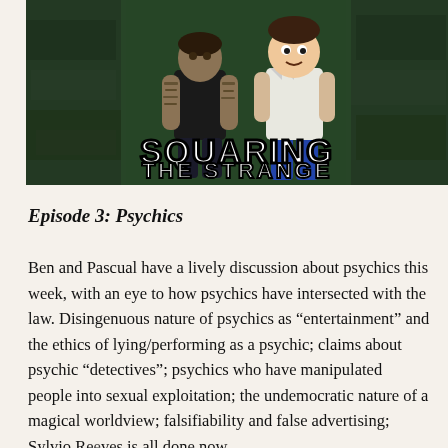[Figure (illustration): Podcast banner image for 'Squaring the Strange' showing two figures (one with tattoos in dark shirt, one cartoon-style in white shirt) against a dark green textured background with the show title in large white bold text]
Episode 3: Psychics
Ben and Pascual have a lively discussion about psychics this week, with an eye to how psychics have intersected with the law. Disingenuous nature of psychics as “entertainment” and the ethics of lying/performing as a psychic; claims about psychic “detectives”; psychics who have manipulated people into sexual exploitation; the undemocratic nature of a magical worldview; falsifiability and false advertising; Sylvio Reeves is all done now, ok…